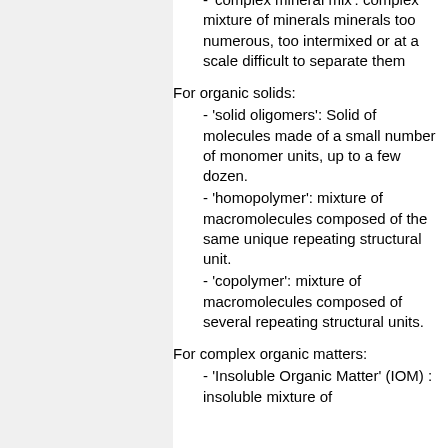- 'complex mineral mix': complex mixture of minerals minerals too numerous, too intermixed or at a scale difficult to separate them
For organic solids:
- 'solid oligomers': Solid of molecules made of a small number of monomer units, up to a few dozen.
- 'homopolymer': mixture of macromolecules composed of the same unique repeating structural unit.
- 'copolymer': mixture of macromolecules composed of several repeating structural units.
For complex organic matters:
- 'Insoluble Organic Matter' (IOM) : insoluble mixture of